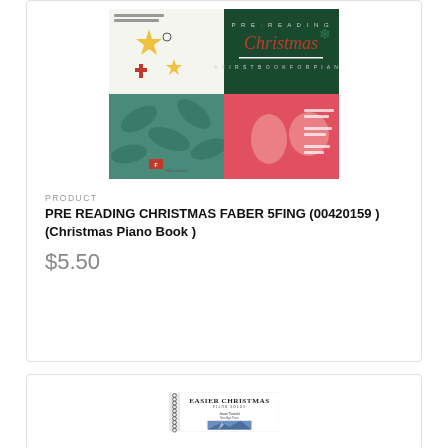[Figure (illustration): Book cover for 'Pre-Reading Christmas: A First Book for Piano' by Nancy and Randall Faber. Cover has four quadrants: top-left white with stars and ornaments, top-right dark green with 'PRE-READING CHRISTMAS' text, bottom-left teal with leaf pattern, bottom-right red/pink with illustrated figures.]
PRODUCT
PRE READING CHRISTMAS FABER 5FING (00420159 ) (Christmas Piano Book )
$5.50
[Figure (illustration): Book cover for 'Easier Christmas Piano Solos' by Jason Tonioli, showing a spiral-bound book with winter mountain scene.]